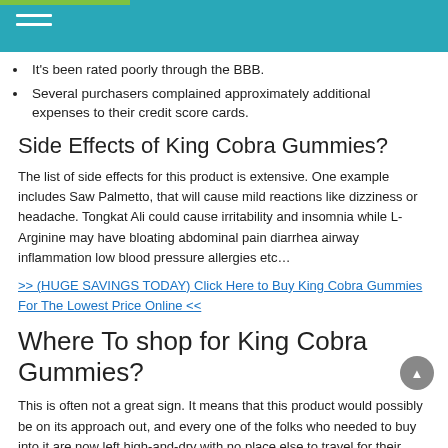It's been rated poorly through the BBB.
Several purchasers complained approximately additional expenses to their credit score cards.
Side Effects of King Cobra Gummies?
The list of side effects for this product is extensive. One example includes Saw Palmetto, that will cause mild reactions like dizziness or headache. Tongkat Ali could cause irritability and insomnia while L-Arginine may have bloating abdominal pain diarrhea airway inflammation low blood pressure allergies etc…
>> (HUGE SAVINGS TODAY) Click Here to Buy King Cobra Gummies For The Lowest Price Online <<
Where To shop for King Cobra Gummies?
This is often not a great sign. It means that this product would possibly be on its approach out, and every one of the folks who needed to buy into it are now left high-and-dry with no place else to travel for their desires, taken care of by our competitor's…